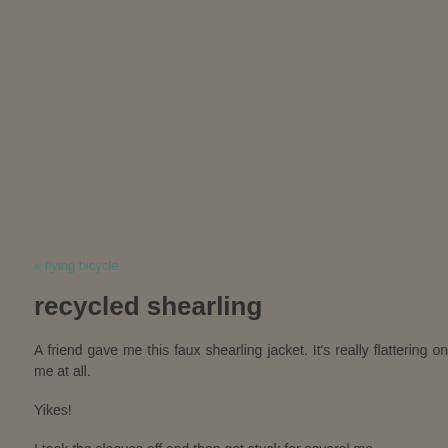« flying bicycle
recycled shearling
A friend gave me this faux shearling jacket. It's really flattering on me at all.
Yikes!
I took the sleeves off and then got stuck for several mo